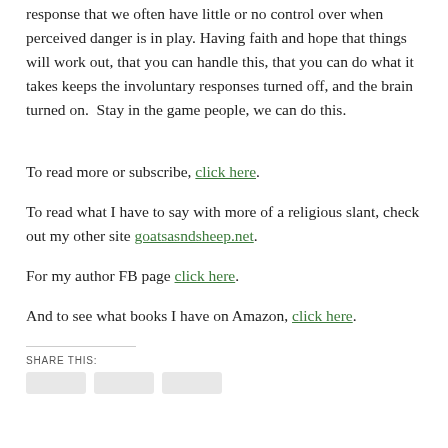response that we often have little or no control over when perceived danger is in play. Having faith and hope that things will work out, that you can handle this, that you can do what it takes keeps the involuntary responses turned off, and the brain turned on.  Stay in the game people, we can do this.
To read more or subscribe, click here.
To read what I have to say with more of a religious slant, check out my other site goatsasndsheep.net.
For my author FB page click here.
And to see what books I have on Amazon, click here.
SHARE THIS: